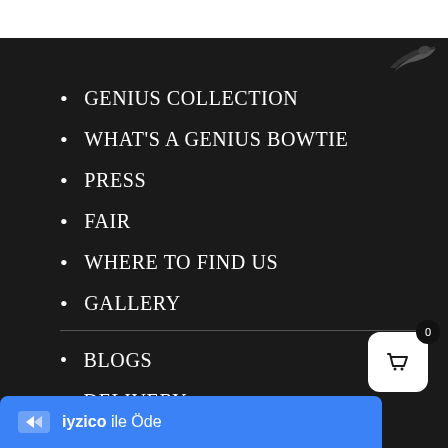[Figure (logo): Wing/bird logo in black and white at top right]
GENIUS COLLECTION
WHAT'S A GENIUS BOWTIE
PRESS
FAIR
WHERE TO FIND US
GALLERY
BLOGS
DELIVERY
[Figure (other): iyzico ile Öde payment button in blue with arrow icon]
[Figure (other): Shopping cart icon with badge showing 0]